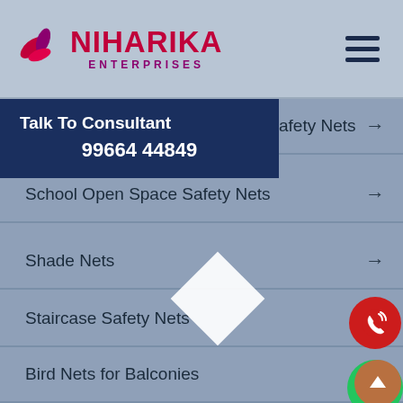NIHARIKA ENTERPRISES
Talk To Consultant
99664 44849
Safety Nets →
School Open Space Safety Nets →
Shade Nets →
Staircase Safety Nets →
Bird Nets for Balconies →
Bird Nets →
Bird Netting →